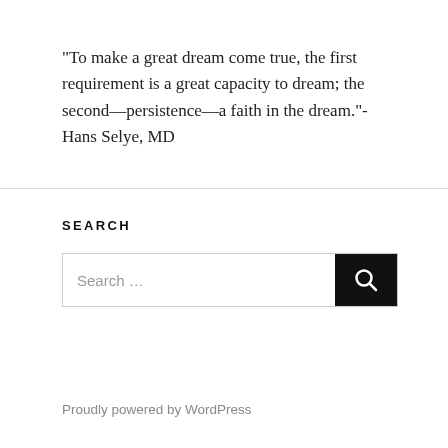"To make a great dream come true, the first requirement is a great capacity to dream; the second—persistence—a faith in the dream."- Hans Selye, MD
SEARCH
[Figure (other): Search input box with a dark search button containing a magnifying glass icon. The input shows placeholder text 'Search ...']
Proudly powered by WordPress